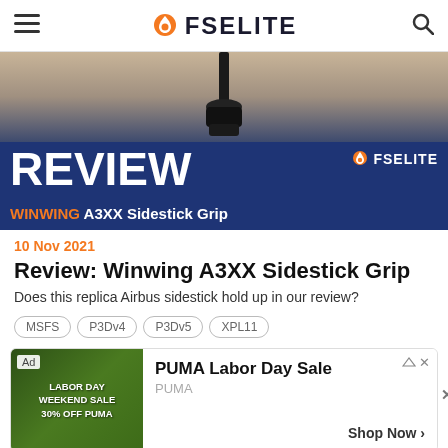FSELITE
[Figure (photo): Review banner image showing the Winwing A3XX Sidestick Grip with dark navy overlay banner reading REVIEW WINWING A3XX Sidestick Grip with FSELITE logo badge]
10 Nov 2021
Review: Winwing A3XX Sidestick Grip
Does this replica Airbus sidestick hold up in our review?
MSFS
P3Dv4
P3Dv5
XPL11
[Figure (screenshot): Advertisement for PUMA Labor Day Sale showing two people outdoors with text LABOR DAY WEEKEND SALE 30% OFF PUMA, ad title PUMA Labor Day Sale, brand PUMA, CTA Shop Now]